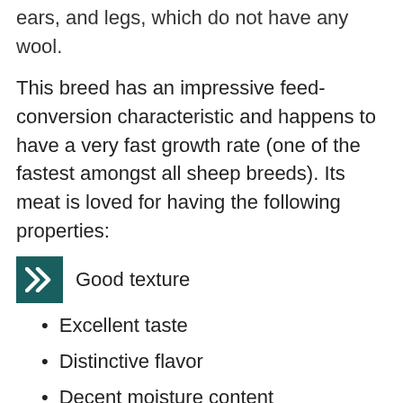ears, and legs, which do not have any wool.
This breed has an impressive feed-conversion characteristic and happens to have a very fast growth rate (one of the fastest amongst all sheep breeds). Its meat is loved for having the following properties:
Good texture
Excellent taste
Distinctive flavor
Decent moisture content
Less fat content
The ewes usually give birth to 3 lambs annually, and these lambs grow up pretty fast.